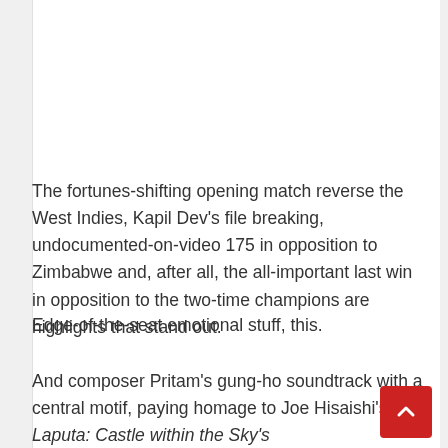The fortunes-shifting opening match reverse the West Indies, Kapil Dev's file breaking, undocumented-on-video 175 in opposition to Zimbabwe and, after all, the all-important last win in opposition to the two-time champions are highlights that stand out.
Edge-of-the-seat emotional stuff, this.
And composer Pritam's gung-ho soundtrack with a central motif, paying homage to Joe Hisaishi's Laputa: Castle within the Sky's